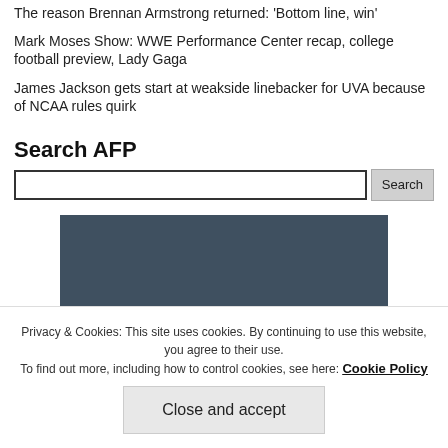Wrestling injury of lead singer Chris Jericho
The reason Brennan Armstrong returned: 'Bottom line, win'
Mark Moses Show: WWE Performance Center recap, college football preview, Lady Gaga
James Jackson gets start at weakside linebacker for UVA because of NCAA rules quirk
Search AFP
[Figure (other): Dark blue-grey rectangular image placeholder]
Privacy & Cookies: This site uses cookies. By continuing to use this website, you agree to their use.
To find out more, including how to control cookies, see here: Cookie Policy
Close and accept